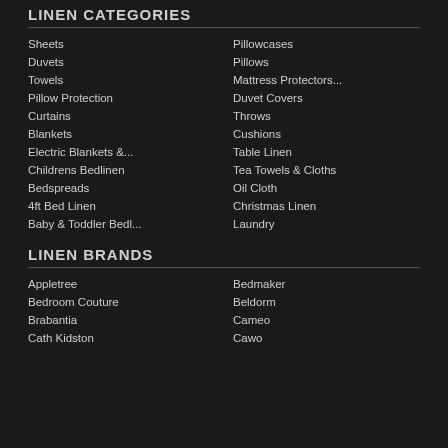LINEN CATEGORIES
Sheets
Pillowcases
Duvets
Pillows
Towels
Mattress Protectors...
Pillow Protection
Duvet Covers
Curtains
Throws
Blankets
Cushions
Electric Blankets &...
Table Linen
Childrens Bedlinen
Tea Towels & Cloths
Bedspreads
Oil Cloth
4ft Bed Linen
Christmas Linen
Baby & Toddler Bedl...
Laundry
LINEN BRANDS
Appletree
Bedmaker
Bedroom Couture
Beldorm
Brabantia
Cameo
Cath Kidston
Cawo